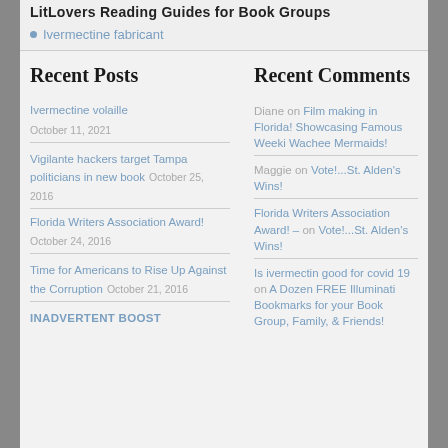LitLovers Reading Guides for Book Groups
Ivermectine fabricant
Recent Posts
Ivermectine volaille October 11, 2021
Vigilante hackers target Tampa politicians in new book October 25, 2016
Florida Writers Association Award! October 24, 2016
Time for Americans to Rise Up Against the Corruption October 21, 2016
INADVERTENT BOOST
Recent Comments
Diane on Film making in Florida! Showcasing Famous Weeki Wachee Mermaids!
Maggie on Vote!...St. Alden's Wins!
Florida Writers Association Award! – on Vote!...St. Alden's Wins!
Is ivermectin good for covid 19 on A Dozen FREE Illuminati Bookmarks for your Book Group, Family, & Friends!